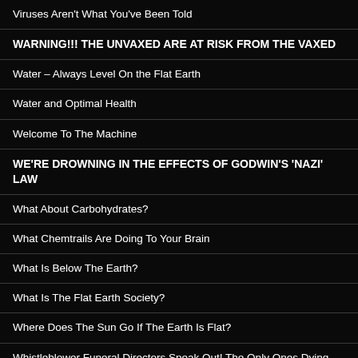Viruses Aren't What You've Been Told
WARNING!!! THE UNVAXED ARE AT RISK FROM THE VAXED
Water – Always Level On the Flat Earth
Water and Optimal Health
Welcome To The Machine
WE'RE DROWNING IN THE EFFECTS OF GODWIN'S 'NAZI' LAW
What About Carbohydrates?
What Chemtrails Are Doing To Your Brain
What Is Below The Earth?
What Is The Flat Earth Society?
Where Does The Sun Go If The Earth Is Flat?
Whistleblower Funeral Directors Speak Out! The Only Ones Dying Are From the Vaccine